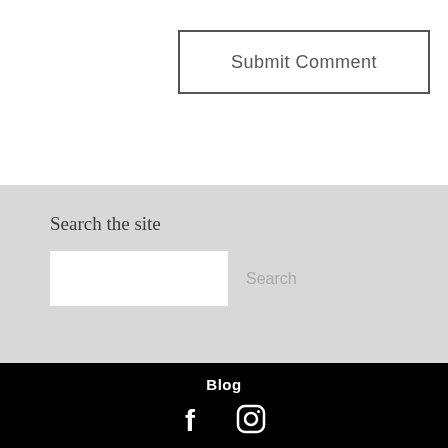Submit Comment
Search the site
Search
Blog